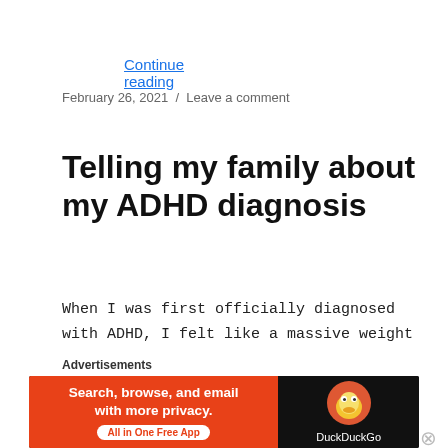Continue reading
February 26, 2021 / Leave a comment
Telling my family about my ADHD diagnosis
When I was first officially diagnosed with ADHD, I felt like a massive weight had been lifted. My suspicions had been confirmed, after all.
Advertisements
[Figure (other): DuckDuckGo advertisement banner: orange left panel with text 'Search, browse, and email with more privacy. All in One Free App' and dark right panel with DuckDuckGo duck logo and brand name.]